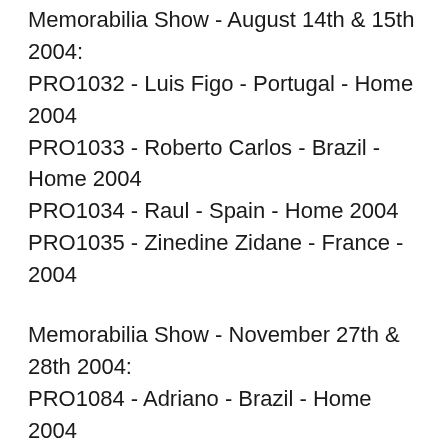Memorabilia Show - August 14th & 15th 2004:
PRO1032 - Luis Figo - Portugal - Home 2004
PRO1033 - Roberto Carlos - Brazil - Home 2004
PRO1034 - Raul - Spain - Home 2004
PRO1035 - Zinedine Zidane - France - 2004
Memorabilia Show - November 27th & 28th 2004:
PRO1084 - Adriano - Brazil - Home 2004
PRO1085 - Robert Pires - France - Away 2004